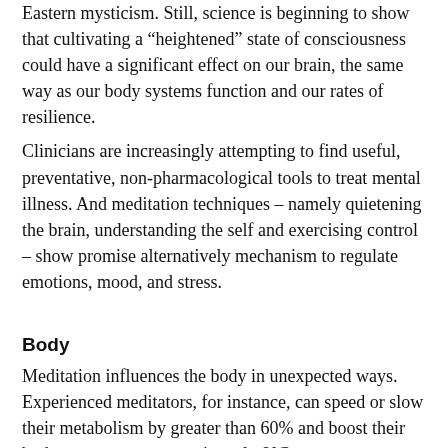Eastern mysticism. Still, science is beginning to show that cultivating a “heightened” state of consciousness could have a significant effect on our brain, the same way as our body systems function and our rates of resilience.
Clinicians are increasingly attempting to find useful, preventative, non-pharmacological tools to treat mental illness. And meditation techniques – namely quietening the brain, understanding the self and exercising control – show promise alternatively mechanism to regulate emotions, mood, and stress.
Body
Meditation influences the body in unexpected ways. Experienced meditators, for instance, can speed or slow their metabolism by greater than 60% and boost their body temperature approximately 8°C.
Even a little beginner meditation can change our...